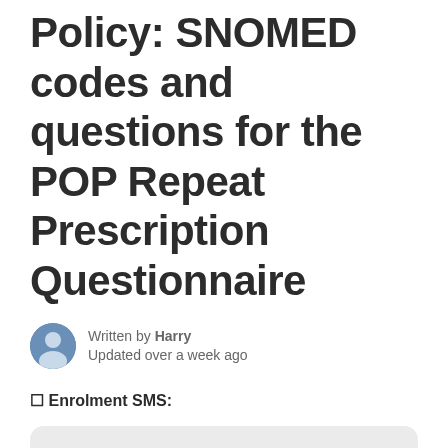Policy: SNOMED codes and questions for the POP Repeat Prescription Questionnaire
Written by Harry
Updated over a week ago
🔲 Enrolment SMS:
Dear Mrs Power,

To prescribe the medication that you have requested, I would like you to provide some information about